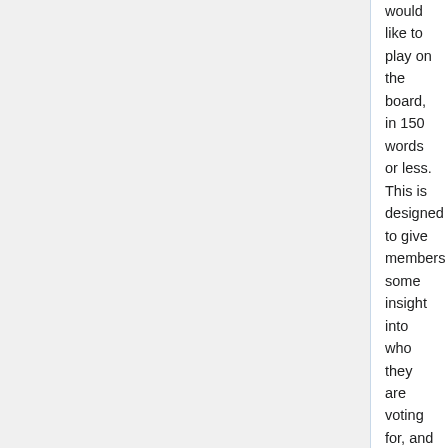would like to play on the board, in 150 words or less. This is designed to give members some insight into who they are voting for, and provides some accountability. Candidate names and their statements will be posted on this page (under the relevant year election) (old Oceania elections page to be deleted).
Voting: OSGeo Oceania members are eligible to vote. The election will be run electronically using an independent system (ElectionBuddy), and will run for one week. Members will be notified by email when voting is open, and provided with instructions on how to cast their ballot. Members' votes are secret - nobody can see who you vote for. At the end of the election, the winning